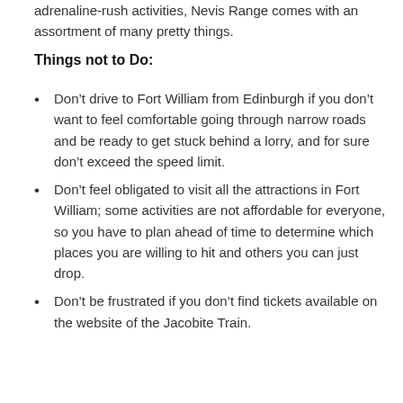adrenaline-rush activities, Nevis Range comes with an assortment of many pretty things.
Things not to Do:
Don’t drive to Fort William from Edinburgh if you don’t want to feel comfortable going through narrow roads and be ready to get stuck behind a lorry, and for sure don’t exceed the speed limit.
Don’t feel obligated to visit all the attractions in Fort William; some activities are not affordable for everyone, so you have to plan ahead of time to determine which places you are willing to hit and others you can just drop.
Don’t be frustrated if you don’t find tickets available on the website of the Jacobite Train.